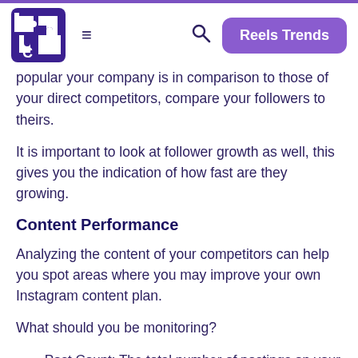Reels Trends
popular your company is in comparison to those of your direct competitors, compare your followers to theirs.
It is important to look at follower growth as well, this gives you the indication of how fast are they growing.
Content Performance
Analyzing the content of your competitors can help you spot areas where you may improve your own Instagram content plan.
What should you be monitoring?
Post Count: The total number of postings on your competitors' accounts
Posting frequency: How often do your competitors post on their Instagram feeds?